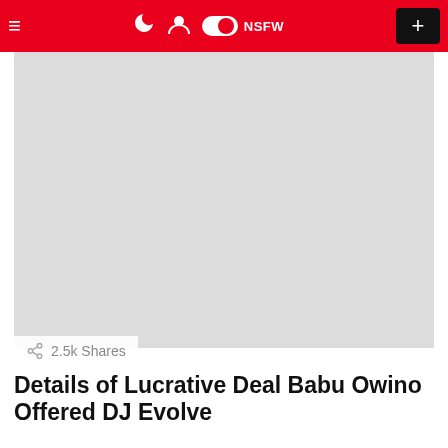≡  NSFW  +
[Figure (photo): Light gray placeholder image area for article photo]
2.5k Shares
Details of Lucrative Deal Babu Owino Offered DJ Evolve